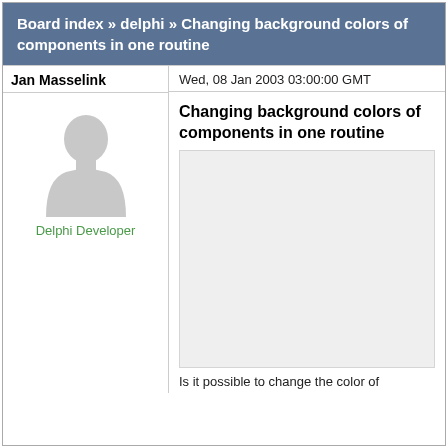Board index » delphi » Changing background colors of components in one routine
Jan Masselink
Wed, 08 Jan 2003 03:00:00 GMT
[Figure (illustration): Generic user avatar silhouette (gray person icon)]
Delphi Developer
Changing background colors of components in one routine
Is it possible to change the color of